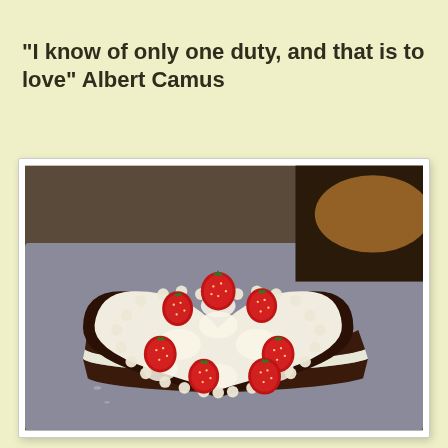"I know of only one duty, and that is to love" Albert Camus
[Figure (photo): A heart-shaped chocolate cake decorated with white whipped cream frosting and fresh strawberries placed on top, sitting on a metal baking tray. The cake has piped cream borders and approximately 7 strawberries arranged across the surface.]